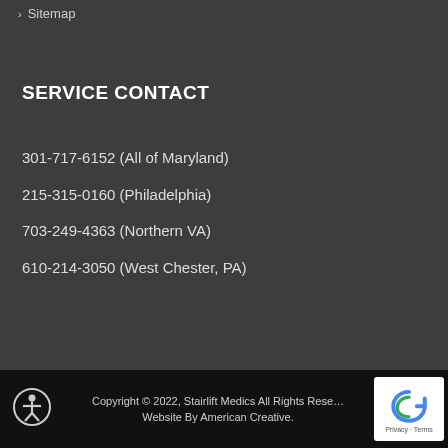Sitemap
SERVICE CONTACT
301-717-6152 (All of Maryland)
215-315-0160 (Philadelphia)
703-249-4363 (Northern VA)
610-214-3050 (West Chester, PA)
Copyright © 2022, Stairlift Medics All Rights Reserved. Website By American Creative.